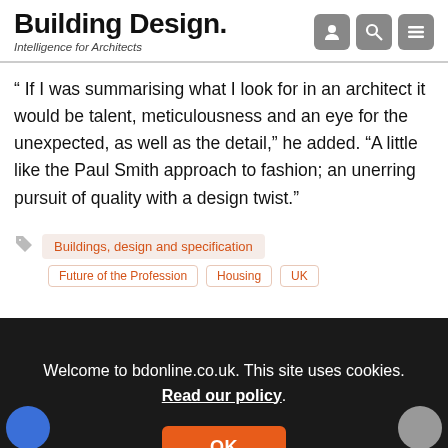Building Design. Intelligence for Architects
“ If I was summarising what I look for in an architect it would be talent, meticulousness and an eye for the unexpected, as well as the detail,” he added. “A little like the Paul Smith approach to fashion; an unerring pursuit of quality with a design twist.”
Buildings, design and specification
Future of the Profession  Housing  UK
Welcome to bdonline.co.uk. This site uses cookies. Read our policy.
OK